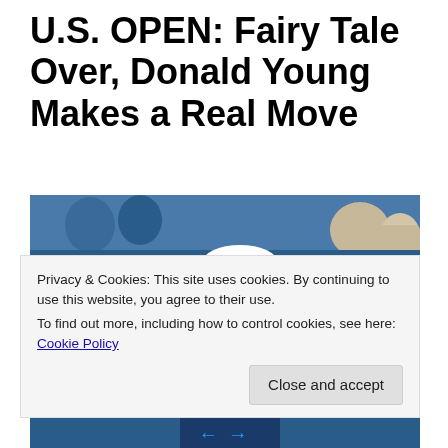U.S. OPEN: Fairy Tale Over, Donald Young Makes a Real Move
[Figure (photo): Tennis player Donald Young wearing a yellow shirt and white cap, mid-swing with a tennis racket, celebrating on a blue hardcourt during the U.S. Open. Crowd visible in background.]
Privacy & Cookies: This site uses cookies. By continuing to use this website, you agree to their use.
To find out more, including how to control cookies, see here: Cookie Policy
Close and accept